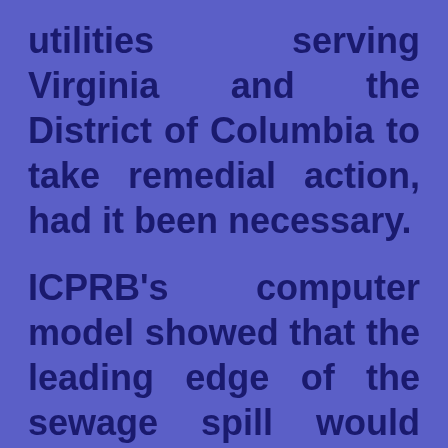utilities serving Virginia and the District of Columbia to take remedial action, had it been necessary.

ICPRB's computer model showed that the leading edge of the sewage spill would have taken 17 hours to reach Leesburg, about 10 miles downstream from the Monocacy's confluence with the